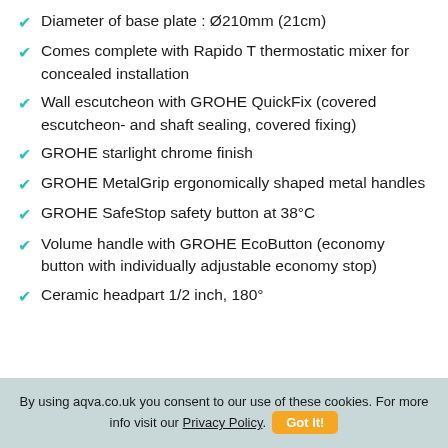Diameter of base plate : Ø210mm (21cm)
Comes complete with Rapido T thermostatic mixer for concealed installation
Wall escutcheon with GROHE QuickFix (covered escutcheon- and shaft sealing, covered fixing)
GROHE starlight chrome finish
GROHE MetalGrip ergonomically shaped metal handles
GROHE SafeStop safety button at 38°C
Volume handle with GROHE EcoButton (economy button with individually adjustable economy stop)
Ceramic headpart 1/2 inch, 180°
By using aqva.co.uk you consent to our use of these cookies. For more info visit our Privacy Policy. Got It!